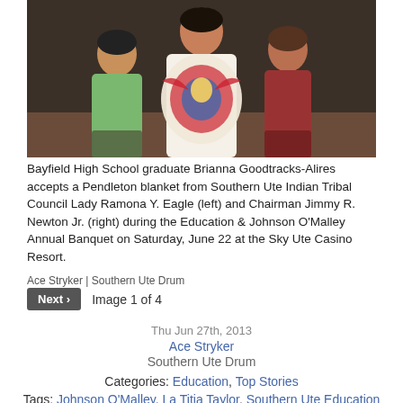[Figure (photo): Group photo of Bayfield High School graduate Brianna Goodtracks-Alires accepting a Pendleton blanket from Southern Ute Indian Tribal Council members at the Sky Ute Casino Resort.]
Bayfield High School graduate Brianna Goodtracks-Alires accepts a Pendleton blanket from Southern Ute Indian Tribal Council Lady Ramona Y. Eagle (left) and Chairman Jimmy R. Newton Jr. (right) during the Education & Johnson O'Malley Annual Banquet on Saturday, June 22 at the Sky Ute Casino Resort.
Ace Stryker | Southern Ute Drum
Next › Image 1 of 4
Thu Jun 27th, 2013
Ace Stryker
Southern Ute Drum
Categories: Education, Top Stories
Tags: Johnson O'Malley, La Titia Taylor, Southern Ute Education Department